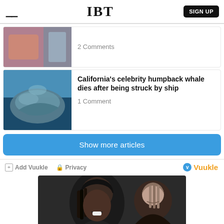IBT
2 Comments
California's celebrity humpback whale dies after being struck by ship
1 Comment
Show more articles
Add Vuukle  Privacy
Vuukle
[Figure (photo): Two people smiling, photo at bottom of page]